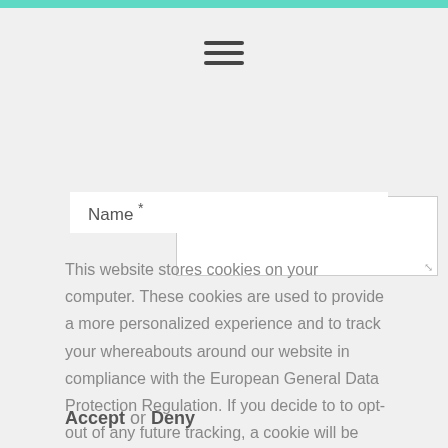[Figure (other): Hamburger menu icon (three horizontal lines) centered in the header area]
[Figure (other): Text area input box with resize handle in the bottom-right corner]
Name *
This website stores cookies on your computer. These cookies are used to provide a more personalized experience and to track your whereabouts around our website in compliance with the European General Data Protection Regulation. If you decide to to opt-out of any future tracking, a cookie will be setup in your browser to remember this choice for one year.
Accept or Deny